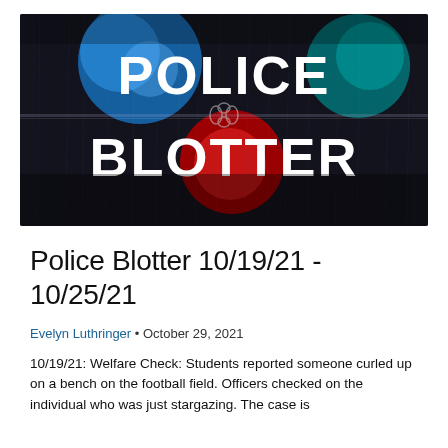[Figure (photo): Police Blotter header image: dark background with rain-covered glass, blue and red bokeh lights, bold white text reading 'POLICE BLOTTER' with a chain-link motif between the words and a red circular element behind the O in BLOTTER]
Police Blotter 10/19/21 - 10/25/21
Evelyn Luthringer • October 29, 2021
10/19/21: Welfare Check: Students reported someone curled up on a bench on the football field. Officers checked on the individual who was just stargazing. The case is